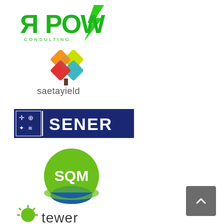[Figure (logo): RPOW Consulting logo — green reversed-R letters RPOW with green lightning bolt slash and CONSULTING in spaced caps below]
[Figure (logo): Saetayield logo — colorful diamond-shape tree icon above lowercase saetayield text]
[Figure (logo): SENER logo — navy blue rectangle with white SENER text and small icon symbols on left]
[Figure (logo): SQM logo — green circle with SQM white text and blue swoosh at bottom]
[Figure (logo): Tewer logo — green sunburst icon with tewer lowercase text (partially visible at bottom)]